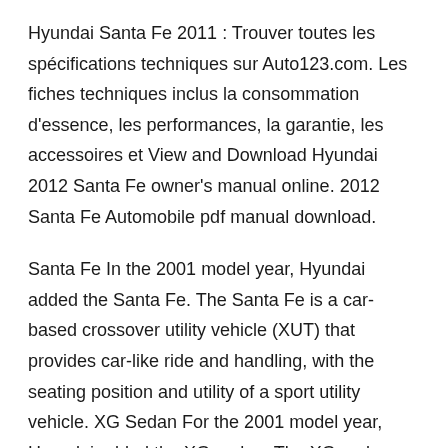Hyundai Santa Fe 2011 : Trouver toutes les spécifications techniques sur Auto123.com. Les fiches techniques inclus la consommation d'essence, les performances, la garantie, les accessoires et View and Download Hyundai 2012 Santa Fe owner's manual online. 2012 Santa Fe Automobile pdf manual download.
Santa Fe In the 2001 model year, Hyundai added the Santa Fe. The Santa Fe is a car-based crossover utility vehicle (XUT) that provides car-like ride and handling, with the seating position and utility of a sport utility vehicle. XG Sedan For the 2001 model year, Hyundai added the XG sedan. The XG sedan was Hyundai's new flagship vehicle in the View and Download Hyundai Santa Fe 2016 owner's manual online. Santa Fe 2016 Car Navigation system pdf manual download.
The 2011 Hyundai Santa Fe. Outside, gracefully sculpted